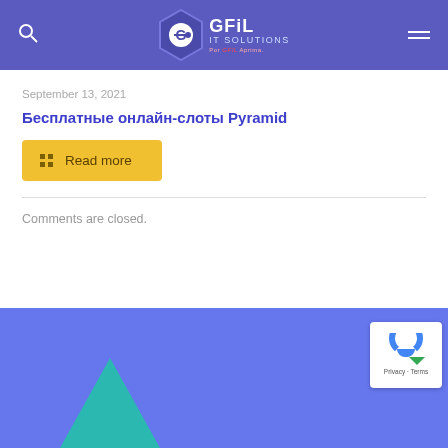GFiL IT SOLUTIONS
September 13, 2021
Бесплатные онлайн-слоты Pyramid
Read more
Comments are closed.